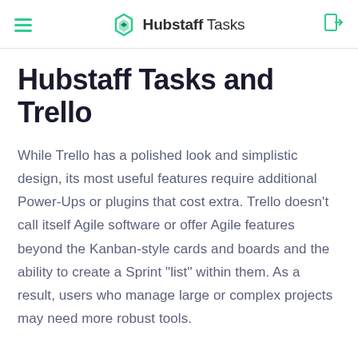Hubstaff Tasks
Hubstaff Tasks and Trello
While Trello has a polished look and simplistic design, its most useful features require additional Power-Ups or plugins that cost extra. Trello doesn’t call itself Agile software or offer Agile features beyond the Kanban-style cards and boards and the ability to create a Sprint “list” within them. As a result, users who manage large or complex projects may need more robust tools.